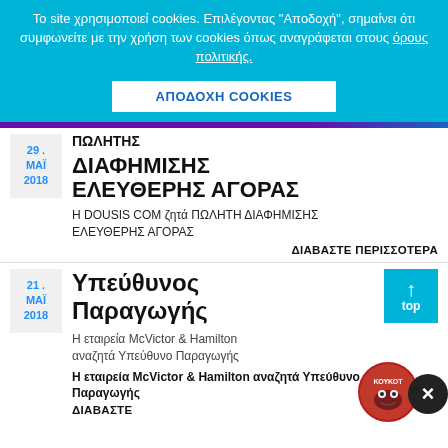Το site χρησιμοποιεί cookies. Επιλέγοντας "Αποδοχή", σημαίνει ότι συμφωνείτε με την χρήση των cookies όπως αναγράφεται στους όρους πολιτικής.
ΑΠΟΔΟΧΗ COOKIES
29 ΜΑΪ 2018
ΠΩΛΗΤΗΣ ΔΙΑΦΗΜΙΣΗΣ ΕΛΕΥΘΕΡΗΣ ΑΓΟΡΑΣ
Η DOUSIS COM ζητά ΠΩΛΗΤΗ ΔΙΑΦΗΜΙΣΗΣ ΕΛΕΥΘΕΡΗΣ ΑΓΟΡΑΣ
ΔΙΑΒΑΣΤΕ ΠΕΡΙΣΣΟΤΕΡΑ
21 ΜΑΪ 2018
Υπεύθυνος Παραγωγής
Η εταιρεία McVictor & Hamilton αναζητά Υπεύθυνο Παραγωγής
Η εταιρεία McVictor & Hamilton αναζητά Υπεύθυνο Παραγωγής
ΔΙΑΒΑΣΤΕ ΠΕΡΙΣΣΟΤΕΡΑ